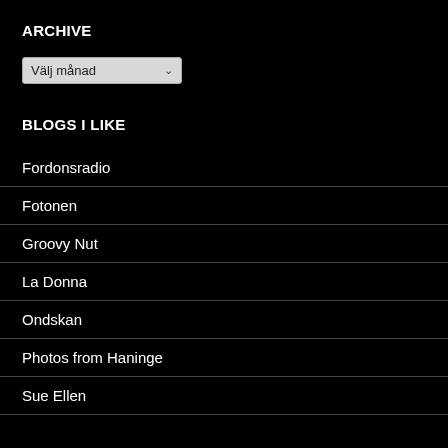ARCHIVE
Välj månad
BLOGS I LIKE
Fordonsradio
Fotonen
Groovy Nut
La Donna
Ondskan
Photos from Haninge
Sue Ellen